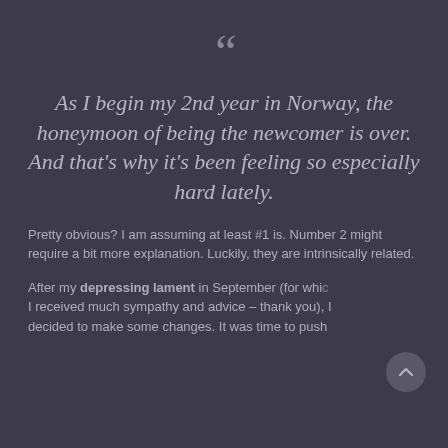“
As I begin my 2nd year in Norway, the honeymoon of being the newcomer is over. And that’s why it’s been feeling so especially hard lately.
Pretty obvious? I am assuming at least #1 is. Number 2 might require a bit more explanation. Luckily, they are intrinsically related.
After my depressing lament in September (for which I received much sympathy and advice – thank you), I decided to make some changes. It was time to push